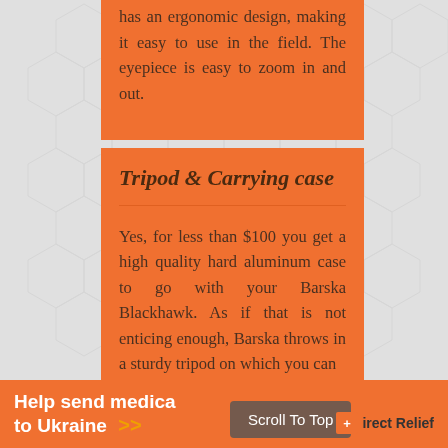has an ergonomic design, making it easy to use in the field. The eyepiece is easy to zoom in and out.
Tripod & Carrying case
Yes, for less than $100 you get a high quality hard aluminum case to go with your Barska Blackhawk. As if that is not enticing enough, Barska throws in a sturdy tripod on which you can
Help send medical supplies to Ukraine >> Scroll To Top Direct Relief